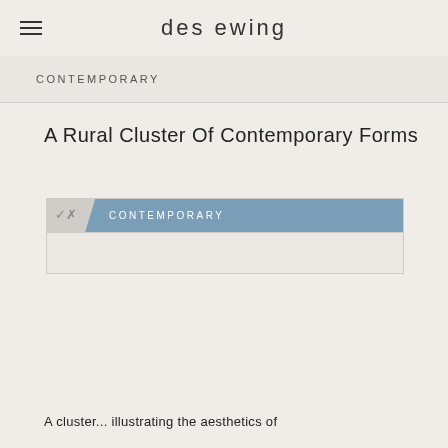des ewing
CONTEMPORARY
A Rural Cluster Of Contemporary Forms
[Figure (other): A card element with a steel-blue header band containing the label CONTEMPORARY and a light-colored diagonal mark on the left side, over a light beige background body area.]
A cluster...